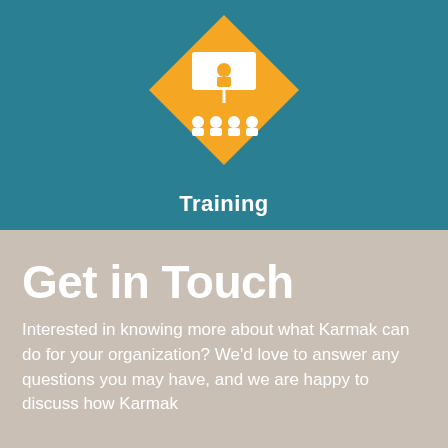[Figure (illustration): Yellow diamond-shaped icon with a white training/classroom illustration (presenter at board with audience) on a teal background]
Training
Get in Touch
Interested in knowing more about what Karmak can do for your organization? We'd love to answer any questions you may have, and we are happy to discuss how Karmak